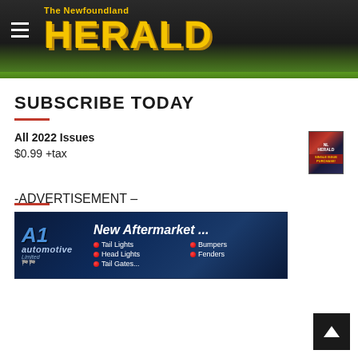[Figure (illustration): The Newfoundland Herald masthead banner with golden HERALD text on dark background with green grass at the bottom, hamburger menu icon on left]
SUBSCRIBE TODAY
All 2022 Issues
$0.99 +tax
[Figure (illustration): Small magazine cover thumbnail with red and dark blue colors showing single issue purchase option]
-ADVERTISEMENT –
[Figure (illustration): A1 Automotive Limited advertisement banner on dark blue background showing New Aftermarket products: Tail Lights, Bumpers, Head Lights, Fenders, Tail Gates]